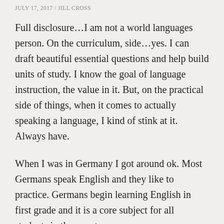JULY 17, 2017 / JILL CROSS
Full disclosure…I am not a world languages person. On the curriculum, side…yes. I can draft beautiful essential questions and help build units of study. I know the goal of language instruction, the value in it. But, on the practical side of things, when it comes to actually speaking a language, I kind of stink at it. Always have.
When I was in Germany I got around ok. Most Germans speak English and they like to practice. Germans begin learning English in first grade and it is a core subject for all students in the country.